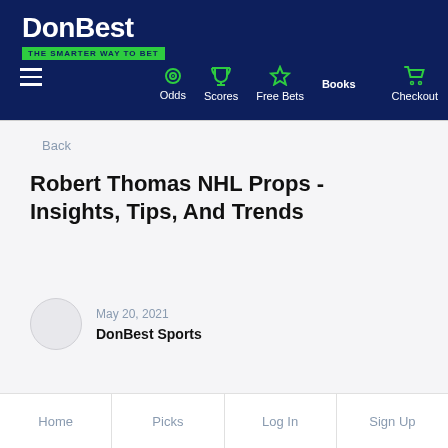[Figure (logo): DonBest logo with white bold text on navy background and green tagline 'THE SMARTER WAY TO BET']
Odds  Scores  Free Bets  Books  Checkout
Back
Robert Thomas NHL Props - Insights, Tips, And Trends
May 20, 2021
DonBest Sports
Home  Picks  Log In  Sign Up